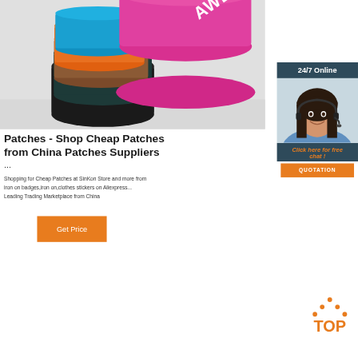[Figure (photo): Stack of colorful hats (black, orange, brown, blue, pink) with 'AWEST' branding visible on the pink hat, on a light gray background]
[Figure (photo): 24/7 Online customer service panel showing a smiling woman with headset, with 'Click here for free chat!' text, a QUOTATION orange button, on a dark blue/slate background]
Patches - Shop Cheap Patches from China Patches Suppliers ...
Shopping for Cheap Patches at SinKon Store and more from iron on badges,iron on,clothes stickers on Aliexpress.com, the Leading Trading Marketplace from China
[Figure (other): Orange 'Get Price' button]
[Figure (other): Orange 'TOP' icon with dots above it, back-to-top indicator]